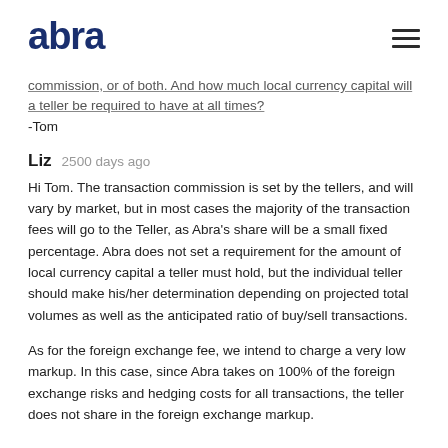abra
commission, or of both. And how much local currency capital will a teller be required to have at all times?
-Tom
Liz  2500 days ago
Hi Tom. The transaction commission is set by the tellers, and will vary by market, but in most cases the majority of the transaction fees will go to the Teller, as Abra's share will be a small fixed percentage. Abra does not set a requirement for the amount of local currency capital a teller must hold, but the individual teller should make his/her determination depending on projected total volumes as well as the anticipated ratio of buy/sell transactions.
As for the foreign exchange fee, we intend to charge a very low markup. In this case, since Abra takes on 100% of the foreign exchange risks and hedging costs for all transactions, the teller does not share in the foreign exchange markup.